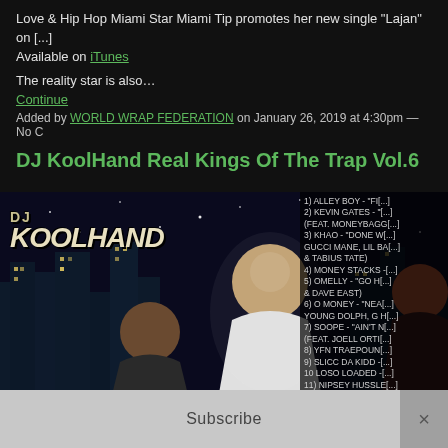Love & Hip Hop Miami Star Miami Tip promotes her new single "Lajan" on [radio]. Available on iTunes
The reality star is also…
Continue
Added by WORLD WRAP FEDERATION on January 26, 2019 at 4:30pm — No C
DJ KoolHand Real Kings Of The Trap Vol.6
[Figure (photo): DJ KoolHand Real Kings Of The Trap Vol.6 album cover featuring multiple rap artists against a city night background, with DJ KoolHand text overlay and a tracklist on the right side]
Subscribe